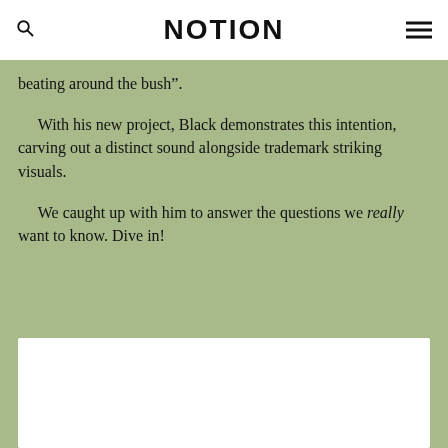NOTION
beating around the bush”.
With his new project, Black demonstrates this intention, carving out a distinct sound alongside trademark striking visuals.
We caught up with him to answer the questions we really want to know. Dive in!
[Figure (photo): White rectangular image placeholder at the bottom of the green content area]